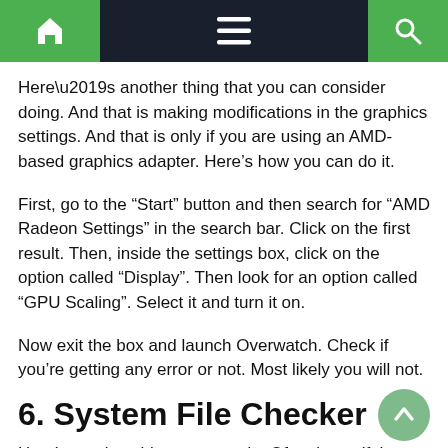[Navigation bar with home icon, menu icon, and search icon]
Here’s another thing that you can consider doing. And that is making modifications in the graphics settings. And that is only if you are using an AMD-based graphics adapter. Here’s how you can do it.
First, go to the “Start” button and then search for “AMD Radeon Settings” in the search bar. Click on the first result. Then, inside the settings box, click on the option called “Display”. Then look for an option called “GPU Scaling”. Select it and turn it on.
Now exit the box and launch Overwatch. Check if you’re getting any error or not. Most likely you will not.
6. System File Checker
Here’s one last thing you can do. Oftentimes, if there is a